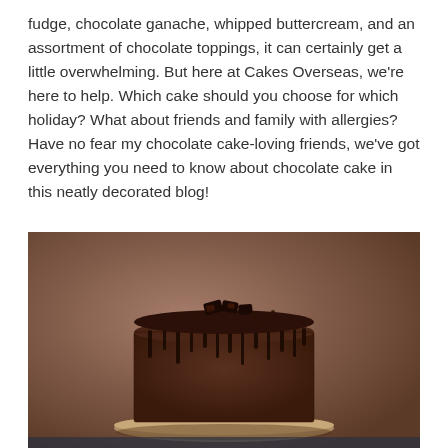fudge, chocolate ganache, whipped buttercream, and an assortment of chocolate toppings, it can certainly get a little overwhelming. But here at Cakes Overseas, we're here to help. Which cake should you choose for which holiday? What about friends and family with allergies? Have no fear my chocolate cake-loving friends, we've got everything you need to know about chocolate cake in this neatly decorated blog!
[Figure (photo): A decorated chocolate drip cake on a plate, topped with chocolate pieces and crumbles, with ganache dripping down the sides, photographed against a warm brown background.]